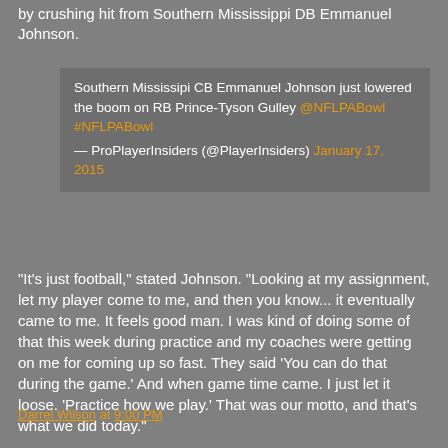by crushing hit from Southern Mississippi DB Emmanuel Johnson.
Southern Mississipi CB Emmanuel Johnson just lowered the boom on RB Prince-Tyson Gulley @NFLPABowl #NFLPABowl — ProPlayerInsiders (@PlayerInsiders) January 17, 2015
“It’s just football,” stated Johnson. “Looking at my assignment, let my player come to me, and then you know... it eventually came to me. It feels good man. I was kind of doing some of that this week during practice and my coaches were getting on me for coming up so fast. They said ‘You can do that during the game.’ And when game time came. I just let it loose. ‘Practice how we play.’ That was our motto, and that’s what we did today.”
Darrel Wilson at 9:00 PM